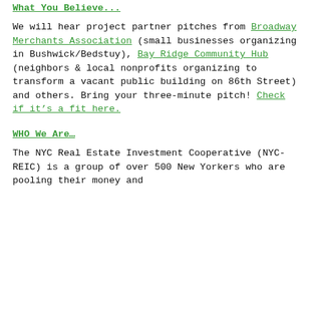What You Believe...
We will hear project partner pitches from Broadway Merchants Association (small businesses organizing in Bushwick/Bedstuy), Bay Ridge Community Hub (neighbors & local nonprofits organizing to transform a vacant public building on 86th Street) and others. Bring your three-minute pitch! Check if it’s a fit here.
WHO We Are…
The NYC Real Estate Investment Cooperative (NYC-REIC) is a group of over 500 New Yorkers who are pooling their money and